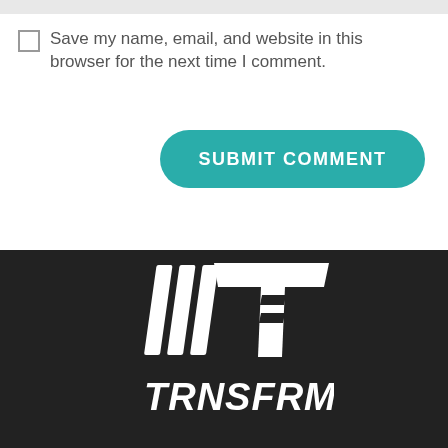Save my name, email, and website in this browser for the next time I comment.
SUBMIT COMMENT
[Figure (logo): TRNSFRM logo — white stylized T with vertical bars on a black background, with TRNSFRM text below in bold italic white lettering]